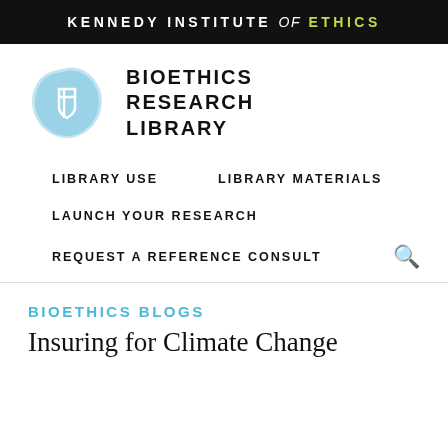KENNEDY INSTITUTE of ETHICS
[Figure (logo): Bioethics Research Library logo: blue geometric blob shape with a white shield icon, next to text reading BIOETHICS RESEARCH LIBRARY in bold uppercase]
BIOETHICS RESEARCH LIBRARY
LIBRARY USE
LIBRARY MATERIALS
LAUNCH YOUR RESEARCH
REQUEST A REFERENCE CONSULT
BIOETHICS BLOGS
Insuring for Climate Change